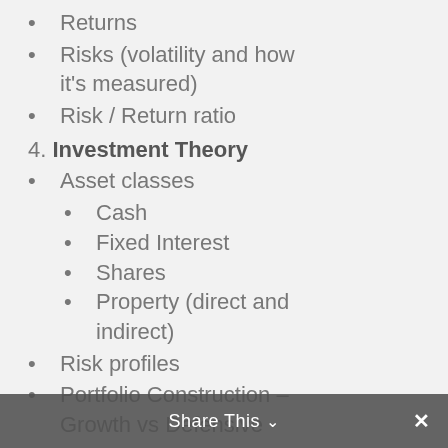Returns
Risks (volatility and how it's measured)
Risk / Return ratio
4. Investment Theory
Asset classes
Cash
Fixed Interest
Shares
Property (direct and indirect)
Risk profiles
Portfolio Construction – Growth vs Defensive
5. Investment Basics
Learn how to invest in Trusts or fund your
Share This